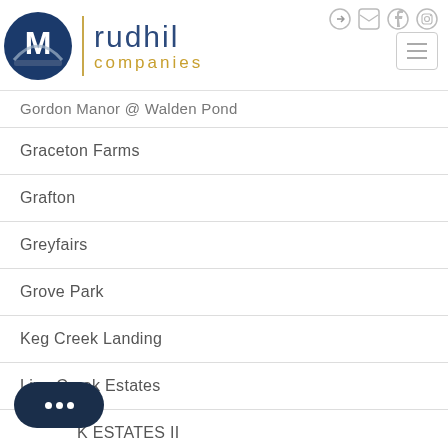[Figure (logo): Rudhil Companies logo with blue circle icon, gold vertical divider, and text 'rudhil companies']
Gordon Manor @ Walden Pond
Graceton Farms
Grafton
Greyfairs
Grove Park
Keg Creek Landing
Line Creek Estates
...K ESTATES II